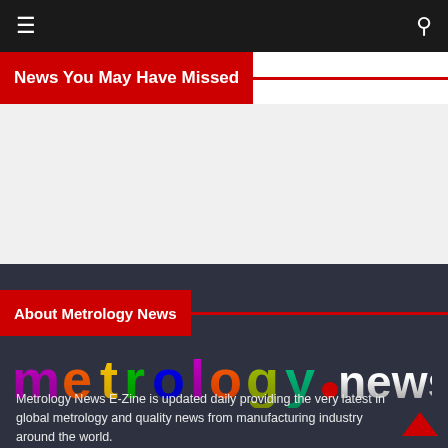≡  🔍
News You May Have Missed
About Metrology News
[Figure (logo): metrology.news logo with colorful gradient letters and metallic silver .news text]
Metrology News E-Zine is updated daily providing the very latest in global metrology and quality news from manufacturing industry around the world.